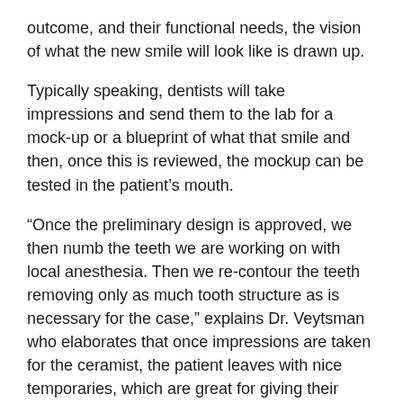outcome, and their functional needs, the vision of what the new smile will look like is drawn up.
Typically speaking, dentists will take impressions and send them to the lab for a mock-up or a blueprint of what that smile and then, once this is reviewed, the mockup can be tested in the patient's mouth.
“Once the preliminary design is approved, we then numb the teeth we are working on with local anesthesia. Then we re-contour the teeth removing only as much tooth structure as is necessary for the case,” explains Dr. Veytsman who elaborates that once impressions are taken for the ceramist, the patient leaves with nice temporaries, which are great for giving their smile a test drive. If the patient sees changes that need to be made while wearing the temp teeth, that can be conveyed to the lab.
Finally, once color is confirmed, the final veneers are tested